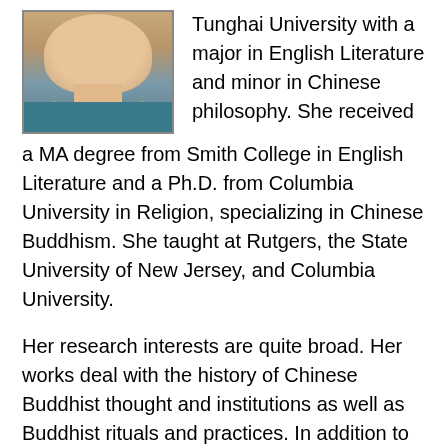[Figure (photo): Portrait photo of a person wearing a teal/blue top and gold necklace, cropped to show face and upper shoulders]
Tunghai University with a major in English Literature and minor in Chinese philosophy. She received a MA degree from Smith College in English Literature and a Ph.D. from Columbia University in Religion, specializing in Chinese Buddhism. She taught at Rutgers, the State University of New Jersey, and Columbia University.
Her research interests are quite broad. Her works deal with the history of Chinese Buddhist thought and institutions as well as Buddhist rituals and practices. In addition to many articles, she is the author of The Renewal of Buddhism in China: Chu-hung and the Late Ming Synthesis (Columbia University Press...